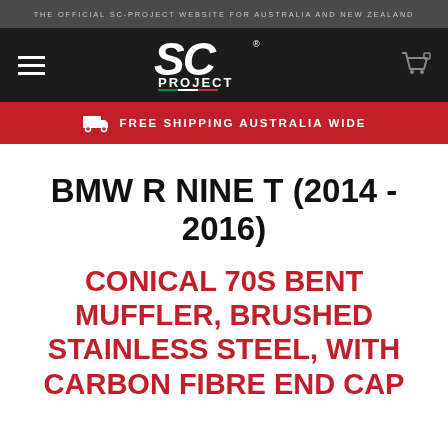THE OFFICIAL SC-PROJECT WEBSITE FOR AUSTRALIA AND NEW ZEALAND
[Figure (logo): SC Project logo - stylized SC text with PROJECT below, red underline stripe]
FREE SHIPPING AUSTRALIA WIDE
BMW R NINE T (2014 - 2016)
CONICAL 70S BENT MUFFLER, BRUSHED STAINLESS STEEL, WITH CARBON FIBRE END CAP